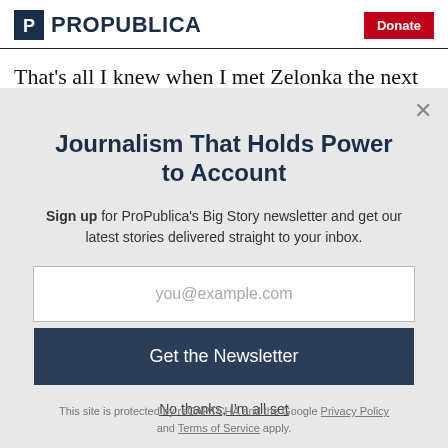ProPublica | Donate
That's all I knew when I met Zelonka the next day,
Journalism That Holds Power to Account
Sign up for ProPublica's Big Story newsletter and get our latest stories delivered straight to your inbox.
you@example.com
Get the Newsletter
No thanks, I'm all set
This site is protected by reCAPTCHA and the Google Privacy Policy and Terms of Service apply.